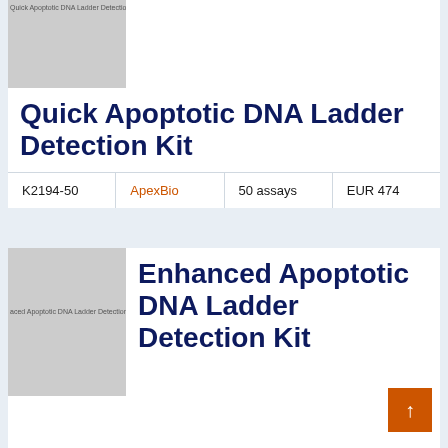[Figure (photo): Product thumbnail image placeholder for Quick Apoptotic DNA Ladder Detection Kit, gray rectangle with small text overlay]
Quick Apoptotic DNA Ladder Detection Kit
| Catalog | Supplier | Quantity | Price |
| --- | --- | --- | --- |
| K2194-50 | ApexBio | 50 assays | EUR 474 |
[Figure (photo): Product thumbnail image placeholder for Enhanced Apoptotic DNA Ladder Detection Kit, gray rectangle with small text overlay]
Enhanced Apoptotic DNA Ladder Detection Kit